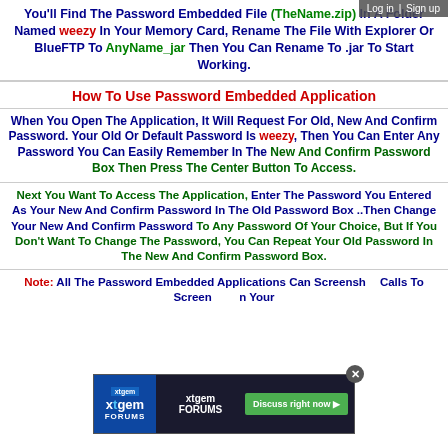Log in | Sign up
You'll Find The Password Embedded File (TheName.zip) In A Folder Named weezy In Your Memory Card, Rename The File With Explorer Or BlueFTP To AnyName_jar Then You Can Rename To .jar To Start Working.
How To Use Password Embedded Application
When You Open The Application, It Will Request For Old, New And Confirm Password. Your Old Or Default Password Is weezy, Then You Can Enter Any Password You Can Easily Remember In The New And Confirm Password Box Then Press The Center Button To Access.
Next You Want To Access The Application, Enter The Password You Entered As Your New And Confirm Password In The Old Password Box ..Then Change Your New And Confirm Password To Any Password Of Your Choice, But If You Don't Want To Change The Password, You Can Repeat Your Old Password In The New And Confirm Password Box.
Note: All The Password Embedded Applications Can Screenshot.. Calls To Screen... In Your